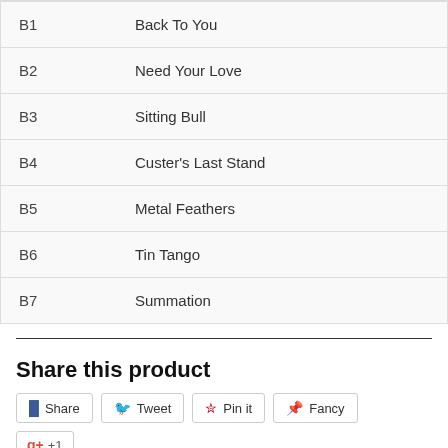| Track | Title |
| --- | --- |
| B1 | Back To You |
| B2 | Need Your Love |
| B3 | Sitting Bull |
| B4 | Custer's Last Stand |
| B5 | Metal Feathers |
| B6 | Tin Tango |
| B7 | Summation |
Share this product
Share  Tweet  Pin it  Fancy  +1